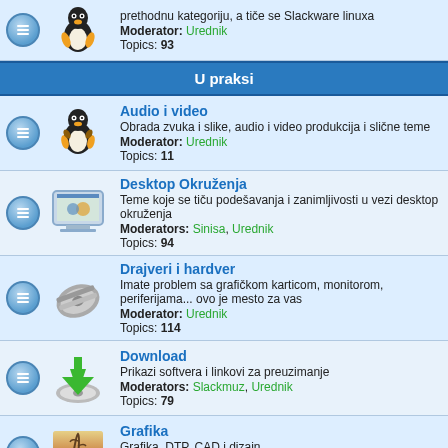prethodnu kategoriju, a tiče se Slackware linuxa
Moderator: Urednik
Topics: 93
U praksi
Audio i video
Obrada zvuka i slike, audio i video produkcija i slične teme
Moderator: Urednik
Topics: 11
Desktop Okruženja
Teme koje se tiču podešavanja i zanimljivosti u vezi desktop okruženja
Moderators: Sinisa, Urednik
Topics: 94
Drajveri i hardver
Imate problem sa grafičkom karticom, monitorom, periferijama... ovo je mesto za vas
Moderator: Urednik
Topics: 114
Download
Prikazi softvera i linkovi za preuzimanje
Moderators: Slackmuz, Urednik
Topics: 79
Grafika
Grafika, DTP, CAD i dizajn
Moderators: Sinisa, Urednik
Topics: 25
Igre
Računarske igre, emulacija igračkih konzola i sve vezano za igranje na Linuksu.
Moderator: Urednik
Topics: 37